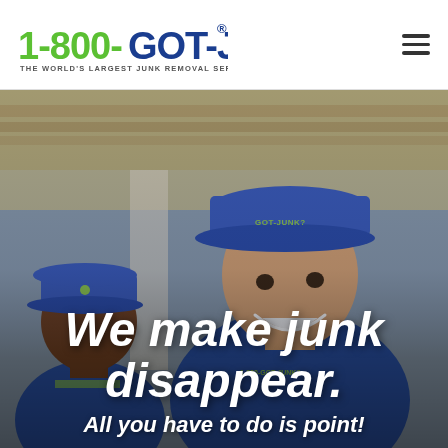[Figure (logo): 1-800-GOT-JUNK? logo with tagline 'THE WORLD'S LARGEST JUNK REMOVAL SERVICE' in green and blue]
[Figure (photo): Two smiling 1-800-GOT-JUNK? employees in blue uniforms and caps, photographed from below with a wooden structure in the background]
We make junk disappear.
All you have to do is point!